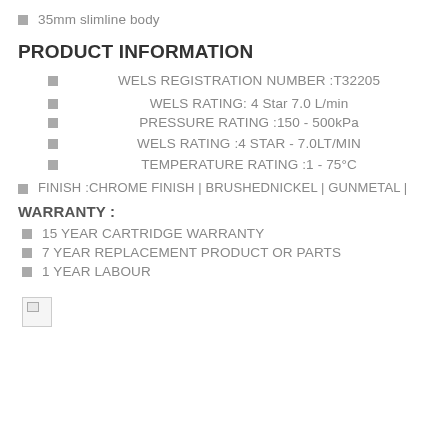35mm slimline body
PRODUCT INFORMATION
WELS REGISTRATION NUMBER :T32205
WELS RATING: 4 Star 7.0 L/min
PRESSURE RATING :150 - 500kPa
WELS RATING :4 STAR - 7.0LT/MIN
TEMPERATURE RATING :1 - 75°C
FINISH :CHROME FINISH | BRUSHEDNICKEL | GUNMETAL |
WARRANTY :
15 YEAR CARTRIDGE WARRANTY
7 YEAR REPLACEMENT PRODUCT OR PARTS
1 YEAR LABOUR
[Figure (photo): Broken/missing image placeholder]